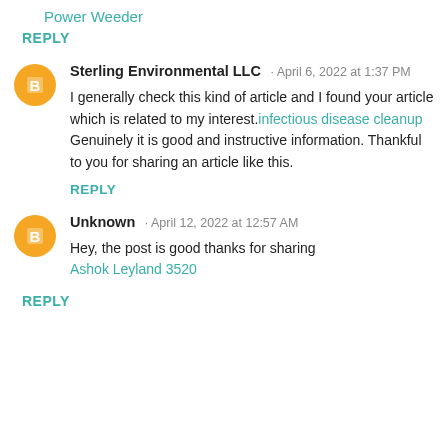Power Weeder
REPLY
Sterling Environmental LLC · April 6, 2022 at 1:37 PM
I generally check this kind of article and I found your article which is related to my interest.infectious disease cleanup Genuinely it is good and instructive information. Thankful to you for sharing an article like this.
REPLY
Unknown · April 12, 2022 at 12:57 AM
Hey, the post is good thanks for sharing Ashok Leyland 3520
REPLY